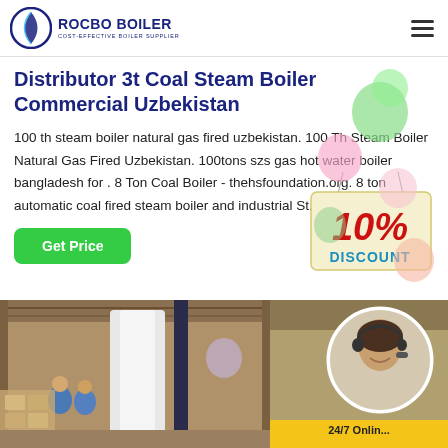ROCBO BOILER — COST-EFFECTIVE BOILER SUPPLIER
Distributor 3t Coal Steam Boiler Commercial Uzbekistan
100 th steam boiler natural gas fired uzbekistan. 100 Th Steam Boiler Natural Gas Fired Uzbekistan. 100tons szs gas hot water boiler bangladesh for . 8 Ton Coal Boiler - thehsfoundation.org. 8 ton automatic coal fired steam boiler and industrial St...boiler...
[Figure (infographic): 10% Discount badge/sign hanging with decorative balloons]
[Figure (photo): Factory warehouse interior with workers and industrial boiler equipment; customer service representative with headset in circular inset]